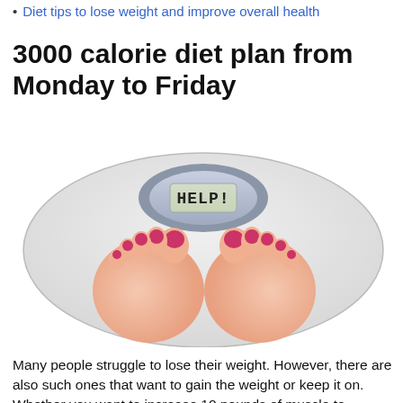Diet tips to lose weight and improve overall health
3000 calorie diet plan from Monday to Friday
[Figure (photo): A person standing on a white bathroom weighing scale. The digital display on the scale reads 'HELP!' in LCD-style characters. The person has red-painted toenails visible on both feet.]
Many people struggle to lose their weight. However, there are also such ones that want to gain the weight or keep it on. Whether you want to increase 10 pounds of muscle to